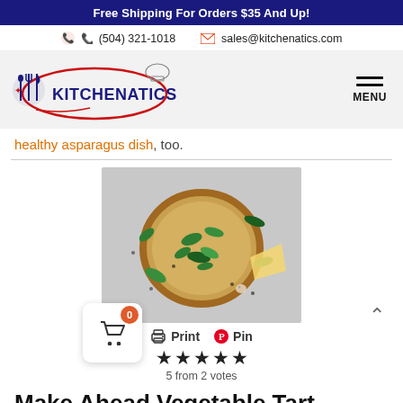Free Shipping For Orders $35 And Up!
(504) 321-1018   sales@kitchenatics.com
[Figure (logo): Kitchenatics logo with fork, spoon, knife icon and chef hat, red oval, navy text KITCHENATICS]
healthy asparagus dish, too.
[Figure (photo): Top-down photo of a round vegetable tart in a pastry crust with spinach leaves and cheese, on a grey background]
Print  Pin
5 from 2 votes
Make Ahead Vegetable Tart